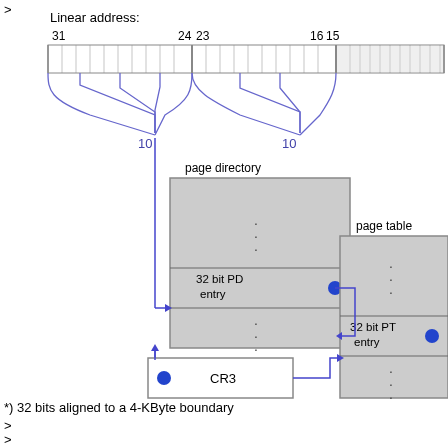[Figure (engineering-diagram): Diagram showing x86 paging: a 32-bit linear address split into two 10-bit fields and a 12-bit offset. The first 10 bits index into the page directory (containing a 32-bit PD entry), which points to the page table (containing a 32-bit PT entry). CR3 register points to the page directory base (32* bits aligned to 4-KByte boundary). Labels: Linear address:, bit positions 31, 24, 23, 16, 15; 'page directory', '32 bit PD entry', 'page table', '32 bit PT entry', 'CR3', '10', '10', '32*'.]
*) 32 bits aligned to a 4-KByte boundary